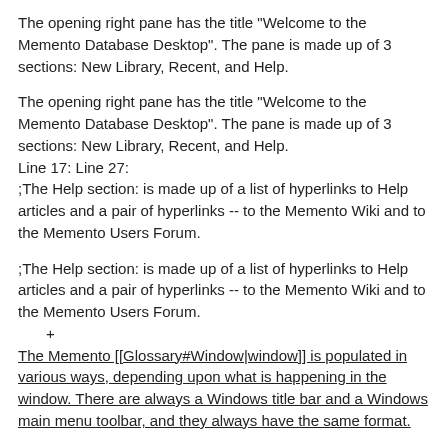The opening right pane has the title "Welcome to the Memento Database Desktop". The pane is made up of 3 sections: New Library, Recent, and Help.
The opening right pane has the title "Welcome to the Memento Database Desktop". The pane is made up of 3 sections: New Library, Recent, and Help.
Line 17: Line 27:
;The Help section: is made up of a list of hyperlinks to Help articles and a pair of hyperlinks -- to the Memento Wiki and to the Memento Users Forum.
;The Help section: is made up of a list of hyperlinks to Help articles and a pair of hyperlinks -- to the Memento Wiki and to the Memento Users Forum.
+
The Memento [[Glossary#Window|window]] is populated in various ways, depending upon what is happening in the window. There are always a Windows title bar and a Windows main menu toolbar, and they always have the same format.